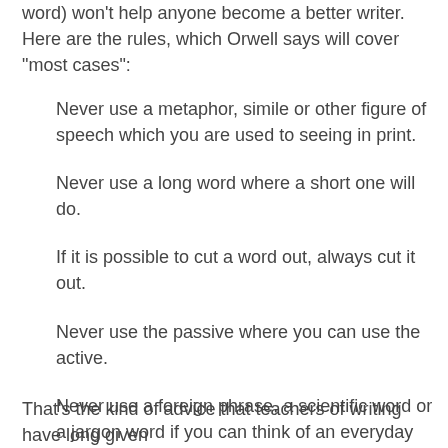word) won't help anyone become a better writer. Here are the rules, which Orwell says will cover “most cases”:
Never use a metaphor, simile or other figure of speech which you are used to seeing in print.
Never use a long word where a short one will do.
If it is possible to cut a word out, always cut it out.
Never use the passive where you can use the active.
Never use a foreign phrase, a scientific word or a jargon word if you can think of an everyday English equivalent.
Break any of these rules sooner than say anything outright barbarous.
That’s the kind of advice that teachers of writing have long given